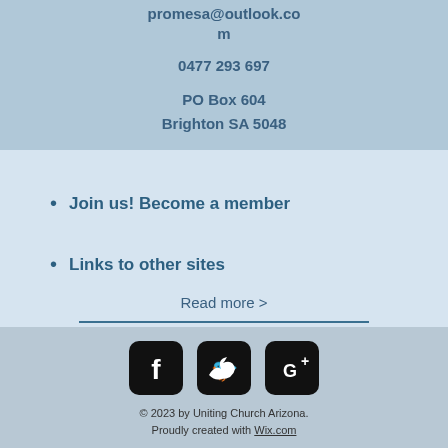promesa@outlook.com
0477 293 697
PO Box 604
Brighton SA 5048
Join us! Become a member
Links to other sites
Read more >
[Figure (infographic): Social media icons: Facebook, Twitter, Google+]
© 2023 by Uniting Church Arizona. Proudly created with Wix.com